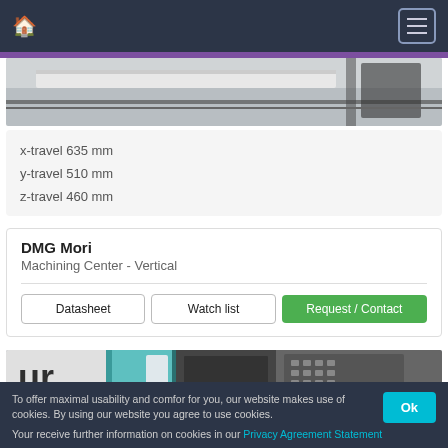Navigation bar with home icon and menu button
[Figure (photo): Partial view of a CNC machining center, showing white and grey machine surfaces with a cable tray, cropped at top]
x-travel 635 mm
y-travel 510 mm
z-travel 460 mm
DMG Mori
Machining Center - Vertical
Datasheet | Watch list | Request / Contact
[Figure (photo): Partial view of industrial CNC machine with teal/green panel and control unit, bold 'ur' lettering visible, partially cropped]
To offer maximal usability and comfor for you, our website makes use of cookies. By using our website you agree to use cookies.

Your receive further information on cookies in our Privacy Agreement Statement